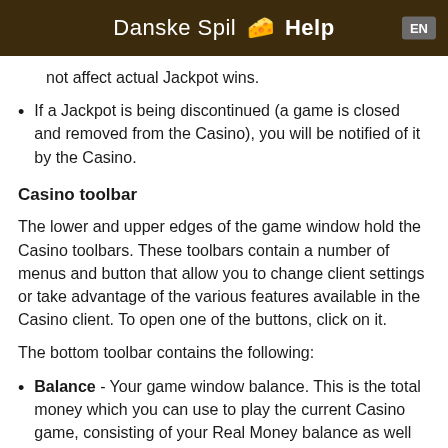Danske Spil 🧀 Help  EN
not affect actual Jackpot wins.
If a Jackpot is being discontinued (a game is closed and removed from the Casino), you will be notified of it by the Casino.
Casino toolbar
The lower and upper edges of the game window hold the Casino toolbars. These toolbars contain a number of menus and button that allow you to change client settings or take advantage of the various features available in the Casino client. To open one of the buttons, click on it.
The bottom toolbar contains the following:
Balance - Your game window balance. This is the total money which you can use to play the current Casino game, consisting of your Real Money balance as well as all the bonuses available for this game.
Deposit / Cashier - Clicking this button opens the Deposit / Cashier window, where you can make deposits and withdrawals